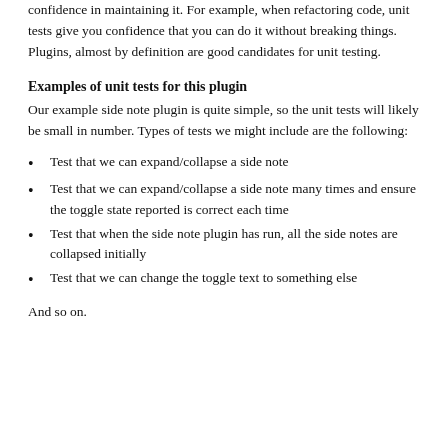confidence in maintaining it. For example, when refactoring code, unit tests give you confidence that you can do it without breaking things. Plugins, almost by definition are good candidates for unit testing.
Examples of unit tests for this plugin
Our example side note plugin is quite simple, so the unit tests will likely be small in number. Types of tests we might include are the following:
Test that we can expand/collapse a side note
Test that we can expand/collapse a side note many times and ensure the toggle state reported is correct each time
Test that when the side note plugin has run, all the side notes are collapsed initially
Test that we can change the toggle text to something else
And so on.